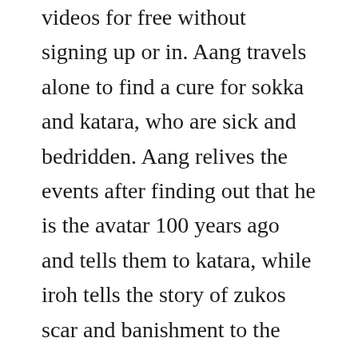videos for free without signing up or in. Aang travels alone to find a cure for sokka and katara, who are sick and bedridden. Aang relives the events after finding out that he is the avatar 100 years ago and tells them to katara, while iroh tells the story of zukos scar and banishment to the crew.
Our players are mobile html5 friendly, responsive with chromecast support. Sokka and katara meet a friend of their father who offers to take them to join the water tribes navy. Avatar the last airbender episode 14 in